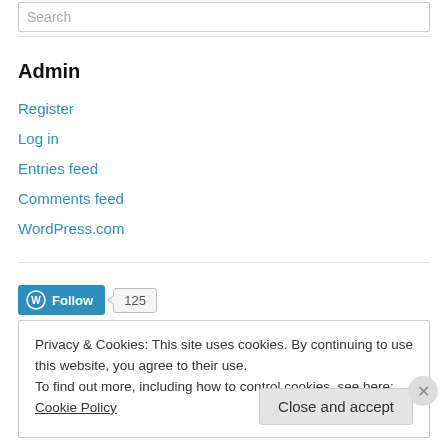Search
Admin
Register
Log in
Entries feed
Comments feed
WordPress.com
[Figure (other): WordPress Follow button with follower count 125]
Privacy & Cookies: This site uses cookies. By continuing to use this website, you agree to their use. To find out more, including how to control cookies, see here: Cookie Policy
Close and accept